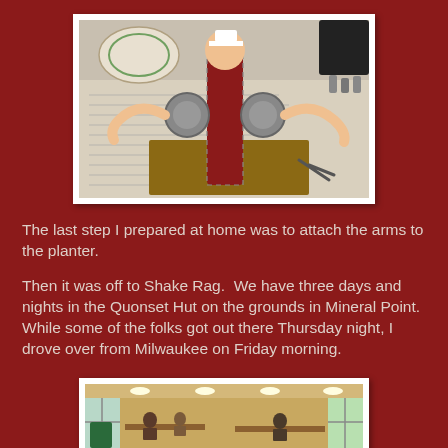[Figure (photo): A craft project showing a figure (possibly Popeye) being assembled, with arms attached to a cylindrical mesh planter, sitting on a worktable with newspaper spread out, scissors visible in the background.]
The last step I prepared at home was to attach the arms to the planter.
Then it was off to Shake Rag.  We have three days and nights in the Quonset Hut on the grounds in Mineral Point.  While some of the folks got out there Thursday night, I drove over from Milwaukee on Friday morning.
[Figure (photo): Interior of the Quonset Hut showing people working at tables in a large room with recessed lighting.]